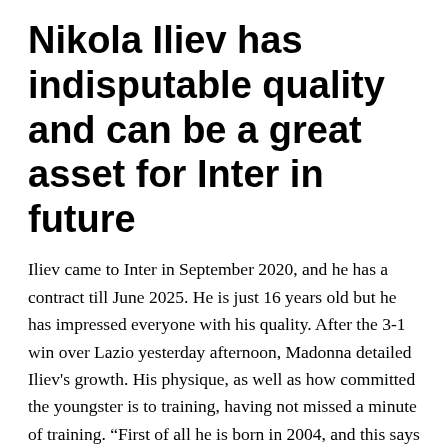Nikola Iliev has indisputable quality and can be a great asset for Inter in future
Iliev came to Inter in September 2020, and he has a contract till June 2025. He is just 16 years old but he has impressed everyone with his quality. After the 3-1 win over Lazio yesterday afternoon, Madonna detailed Iliev's growth. His physique, as well as how committed the youngster is to training, having not missed a minute of training. “First of all he is born in 2004, and this says a lot. He has grown a lot, he has the quality that is indisputable. He regularly goes in to see after training and